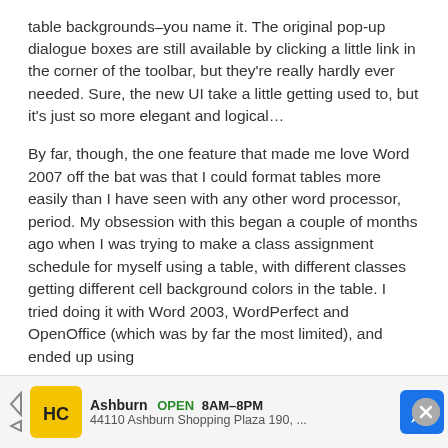table backgrounds–you name it. The original pop-up dialogue boxes are still available by clicking a little link in the corner of the toolbar, but they're really hardly ever needed. Sure, the new UI take a little getting used to, but it's just so more elegant and logical...
By far, though, the one feature that made me love Word 2007 off the bat was that I could format tables more easily than I have seen with any other word processor, period. My obsession with this began a couple of months ago when I was trying to make a class assignment schedule for myself using a table, with different classes getting different cell background colors in the table. I tried doing it with Word 2003, WordPerfect and OpenOffice (which was by far the most limited), and ended up using
[Figure (other): Advertisement banner: HC logo (yellow background), Ashburn OPEN 8AM-8PM, 44110 Ashburn Shopping Plaza 190, navigation arrow icon]